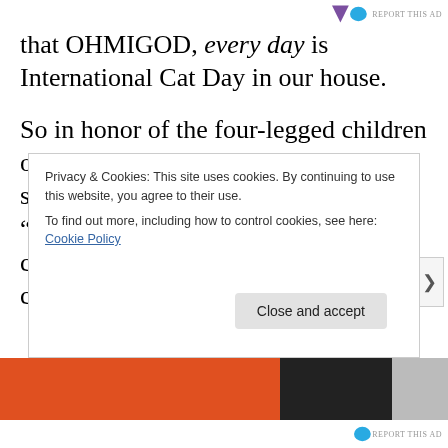that OHMIGOD, every day is International Cat Day in our house.
So in honor of the four-legged children of my heart, I would like to share some…hmmm…let's call them “introspections,” that have recently come to me (with conveniently corroborating photos.)
Privacy & Cookies: This site uses cookies. By continuing to use this website, you agree to their use. To find out more, including how to control cookies, see here: Cookie Policy
Close and accept